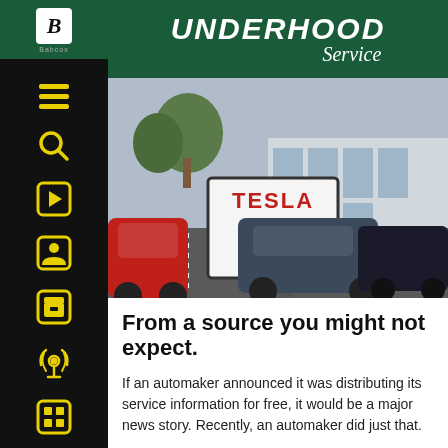UNDERHOOD Service
[Figure (photo): A Tesla Service Ahead sign in a parking lot with Tesla vehicles and a dealership building in the background.]
From a source you might not expect.
If an automaker announced it was distributing its service information for free, it would be a major news story. Recently, an automaker did just that.